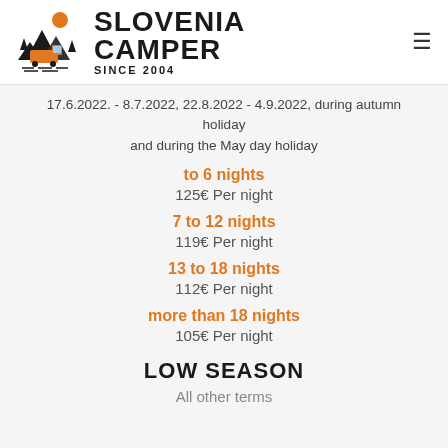SLOVENIA CAMPER SINCE 2004
17.6.2022. - 8.7.2022, 22.8.2022 - 4.9.2022, during autumn holiday and during the May day holiday
to 6 nights
125€ Per night
7 to 12 nights
119€ Per night
13 to 18 nights
112€ Per night
more than 18 nights
105€ Per night
LOW SEASON
All other terms